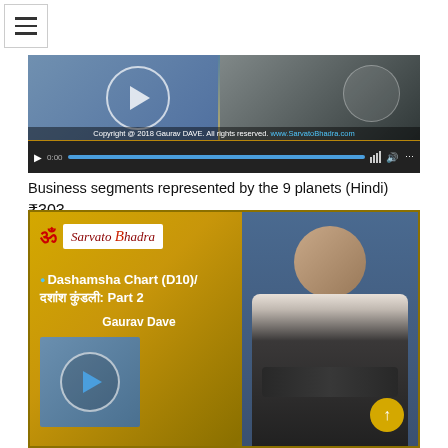[Figure (screenshot): Hamburger menu button icon (three horizontal lines)]
[Figure (screenshot): Video thumbnail for 'Business segments represented by the 9 planets (Hindi)' course by Gaurav Dave / SarvatoBhadra. Shows a play button circle on a blue background and a hand on golden background. Has copyright text 'Copyright @ 2018 Gaurav DAVE. All rights reserved. www.SarvatoBhadra.com' and a video player controls bar.]
Business segments represented by the 9 planets (Hindi)
₹303
[Figure (screenshot): Video thumbnail for 'Dashamsha Chart (D10)/ दशांश कुंडली: Part 2' by Gaurav Dave on SarvatoBhadra. Shows the SarvatoBhadra logo with Om symbol, text of course title in English and Hindi, presenter name 'Gaurav Dave', a play button on blue background, and a photo of Gaurav Dave (bald man in suit with arms crossed) on blue background. A golden scroll-to-top button is visible at bottom right.]